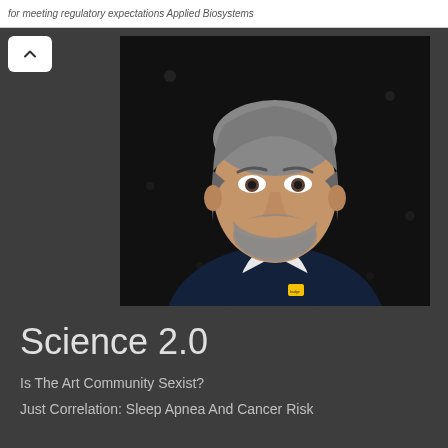for meeting regulatory expectations Applied Biosystems
[Figure (photo): Portrait photo of a middle-aged man with salt-and-pepper hair and beard, wearing a dark navy suit with a white shirt and dark tie, and a small yellow badge on his lapel, against a dark background]
Science 2.0
Is The Art Community Sexist?
Just Correlation: Sleep Apnea And Cancer Risk